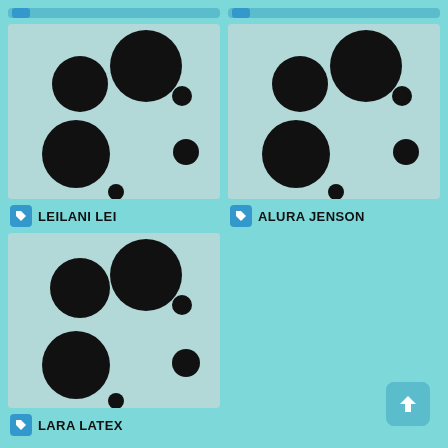[Figure (illustration): Thumbnail image placeholder for Leilani Lei showing black circles on light blue-grey background]
LEILANI LEI
[Figure (illustration): Thumbnail image placeholder for Alura Jenson showing black circles on light blue-grey background]
ALURA JENSON
[Figure (illustration): Thumbnail image placeholder for Lara Latex showing black circles on light blue-grey background]
LARA LATEX